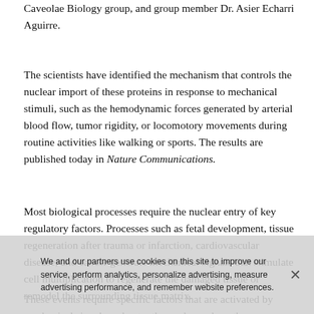Caveolae Biology group, and group member Dr. Asier Echarri Aguirre.
The scientists have identified the mechanism that controls the nuclear import of these proteins in response to mechanical stimuli, such as the hemodynamic forces generated by arterial blood flow, tumor rigidity, or locomotory movements during routine activities like walking or sports. The results are published today in Nature Communications.
Most biological processes require the nuclear entry of key regulatory factors. Processes such as fetal development, tissue regeneration after trauma or infarction, cardiovascular disease, and cancer generate mechanical signals that stimulate cell multiplication to regenerate the damaged tissue or remodel the surrounding tissue matrix.
These events require specific factors that are activated by mechanical signals and enter the nucleus where they...
We and our partners use cookies on this site to improve our service, perform analytics, personalize advertising, measure advertising performance, and remember website preferences.